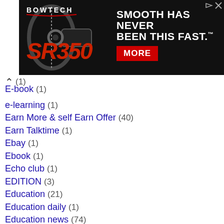[Figure (screenshot): Bowtech SR350 compound bow advertisement banner. Black background with compound bow image on left, 'BOWTECH' brand name and 'SR350' model in red/white, tagline 'SMOOTH HAS NEVER BEEN THIS FAST.' and a red 'MORE' button on right.]
E-book (1)
e-learning (1)
Earn More & self Earn Offer (40)
Earn Talktime (1)
Ebay (1)
Ebook (1)
Echo club (1)
EDITION (3)
Education (21)
Education daily (1)
Education news (74)
Education policy (2)
Educational news (8)
Election (9)
Election day (1)